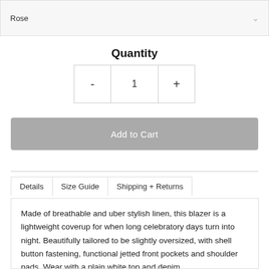Rose
Quantity
- 1 +
Add to Cart
Details | Size Guide | Shipping + Returns
Made of breathable and uber stylish linen, this blazer is a lightweight coverup for when long celebratory days turn into night. Beautifully tailored to be slightly oversized, with shell button fastening, functional jetted front pockets and shoulder pads. Wear with a plain white top and denim